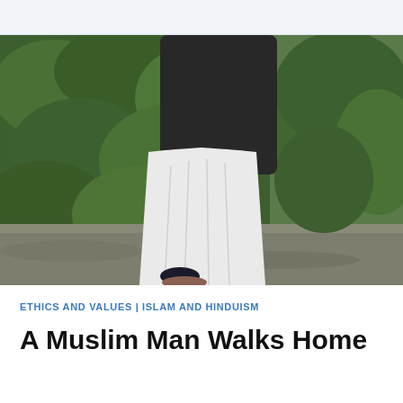[Figure (photo): A person wearing a dark jacket and white flowing pants/thobe walking outdoors, with green bushes and ground visible in background. Only the torso and legs from roughly chest-down are visible.]
ETHICS AND VALUES | ISLAM AND HINDUISM
A Muslim Man Walks Home